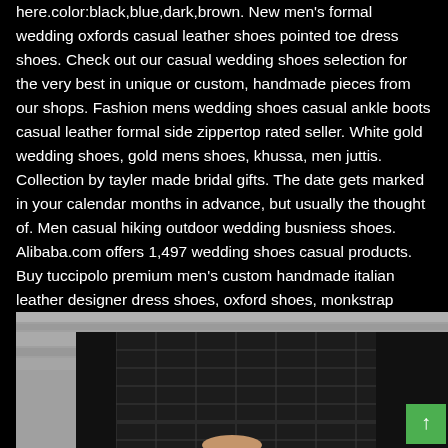here.color:black,blue,dark,brown. New men's formal wedding oxfords casual leather shoes pointed toe dress shoes. Check out our casual wedding shoes selection for the very best in unique or custom, handmade pieces from our shops. Fashion mens wedding shoes casual ankle boots casual leather formal side zippertop rated seller. White gold wedding shoes, gold mens shoes, khussa, men juttis. Collection by tayler made bridal gifts. The date gets marked in your calendar months in advance, but usually the thought of. Men casual hiking outdoor wedding busniess shoes. Alibaba.com offers 1,497 wedding shoes casual products. Buy tuccipolo premium men's custom handmade italian leather designer dress shoes, oxford shoes, monkstrap shoes, bespoke shoes, slip on loafers shoes, casual shoes & more.
[Figure (photo): Lower half of a person wearing dark plaid/checkered trousers and a dark top, with a light grey background visible. A green scroll-to-top button is overlaid in the bottom right corner.]